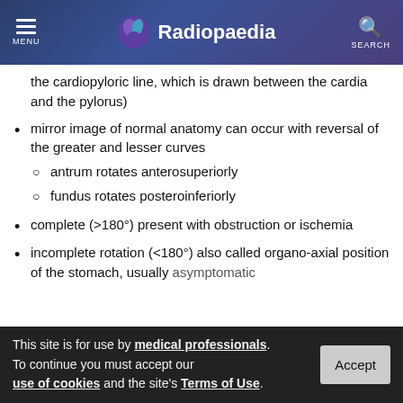Radiopaedia
the cardiopyloric line, which is drawn between the cardia and the pylorus)
mirror image of normal anatomy can occur with reversal of the greater and lesser curves
antrum rotates anterosuperiorly
fundus rotates posteroinferiorly
complete (>180°) present with obstruction or ischemia
incomplete rotation (<180°) also called organo-axial position of the stomach, usually asymptomatic
This site is for use by medical professionals. To continue you must accept our use of cookies and the site's Terms of Use.